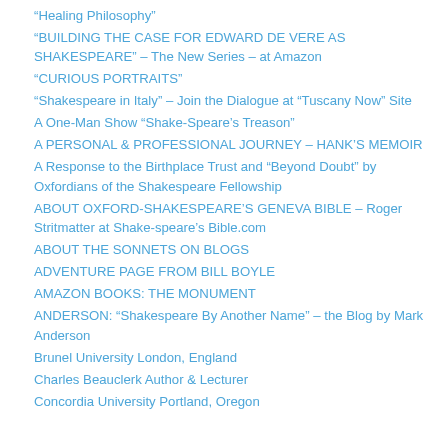“Healing Philosophy”
"BUILDING THE CASE FOR EDWARD DE VERE AS SHAKESPEARE" – The New Series – at Amazon
"CURIOUS PORTRAITS"
"Shakespeare in Italy" – Join the Dialogue at "Tuscany Now" Site
A One-Man Show "Shake-Speare's Treason"
A PERSONAL & PROFESSIONAL JOURNEY – HANK'S MEMOIR
A Response to the Birthplace Trust and "Beyond Doubt" by Oxfordians of the Shakespeare Fellowship
ABOUT OXFORD-SHAKESPEARE’S GENEVA BIBLE – Roger Stritmatter at Shake-speare's Bible.com
ABOUT THE SONNETS ON BLOGS
ADVENTURE PAGE FROM BILL BOYLE
AMAZON BOOKS: THE MONUMENT
ANDERSON: "Shakespeare By Another Name" – the Blog by Mark Anderson
Brunel University London, England
Charles Beauclerk Author & Lecturer
Concordia University Portland, Oregon